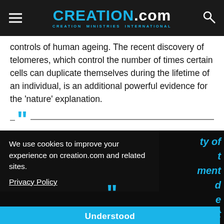CREATION.com — CREATION MINISTRIES INTERNATIONAL
controls of human ageing. The recent discovery of telomeres, which control the number of times certain cells can duplicate themselves during the lifetime of an individual, is an additional powerful evidence for the 'nature' explanation.
[Figure (other): Large opening quotation mark in blue with horizontal lines forming a pull-quote divider]
We use cookies to improve your experience on creation.com and related sites.
Privacy Policy
Understood